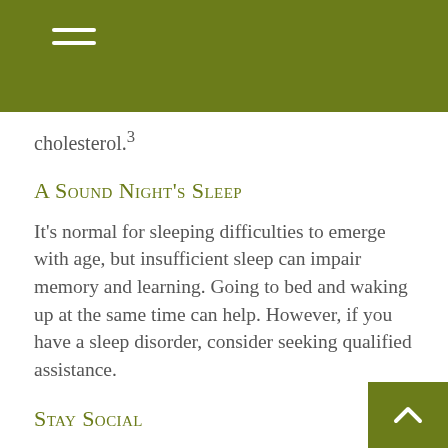cholesterol.³
A Sound Night's Sleep
It's normal for sleeping difficulties to emerge with age, but insufficient sleep can impair memory and learning. Going to bed and waking up at the same time can help. However, if you have a sleep disorder, consider seeking qualified assistance.
Stay Social
Staying engaged with friends and family stimulates the brain. If you live alone or have limited social ties, look to build up contact with neighbors and social groups.